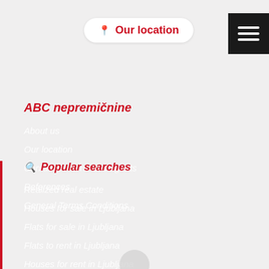Our location
ABC nepremičnine
About us
Our location
Contact persons and agents
References
General Terms Conditions
Popular searches
Realized real estate
Houses for sale in Ljubljana
Flats for sale in Ljubljana
Flats to rent in Ljubljana
Houses for rent in Ljubljana